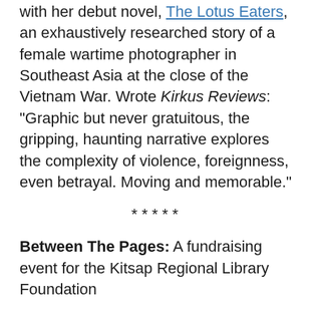with her debut novel, The Lotus Eaters, an exhaustively researched story of a female wartime photographer in Southeast Asia at the close of the Vietnam War. Wrote Kirkus Reviews: "Graphic but never gratuitous, the gripping, haunting narrative explores the complexity of violence, foreignness, even betrayal. Moving and memorable."
*****
Between The Pages: A fundraising event for the Kitsap Regional Library Foundation
Who: Authors Jane Smiley, Josie Brown, Eileen Goudge, Joshilyn Jackson and Tatjana Soli
When: Thursday, 7:30 p.m.
Where: Bainbridge Performing Arts Center, 200